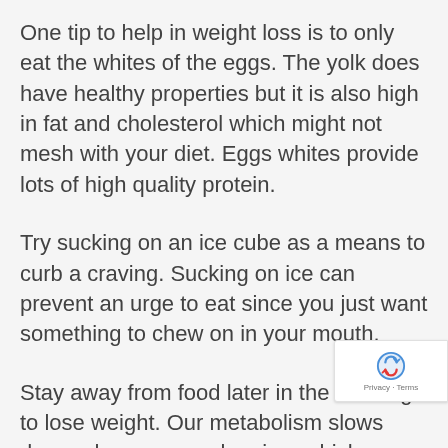One tip to help in weight loss is to only eat the whites of the eggs. The yolk does have healthy properties but it is also high in fat and cholesterol which might not mesh with your diet. Eggs whites provide lots of high quality protein.
Try sucking on an ice cube as a means to curb a craving. Sucking on ice can prevent an urge to eat since you just want something to chew on in your mouth.
Stay away from food later in the evening to lose weight. Our metabolism slows down when we are sleeping, which means that foods you eat late at night before bed will mostly be stored as fat. You'll notice a difference if you eliminate these midnight snacks.